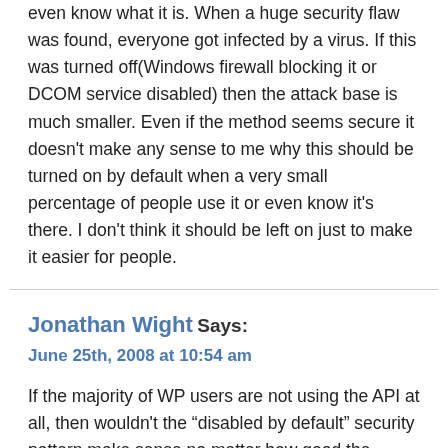even know what it is. When a huge security flaw was found, everyone got infected by a virus. If this was turned off(Windows firewall blocking it or DCOM service disabled) then the attack base is much smaller. Even if the method seems secure it doesn't make any sense to me why this should be turned on by default when a very small percentage of people use it or even know it's there. I don't think it should be left on just to make it easier for people.
Jonathan Wight Says: June 25th, 2008 at 10:54 am
If the majority of WP users are not using the API at all, then wouldn't the "disabled by default" security pattern make sense no matter how good the underlying security is? Even if WP replaced their current API with some imaginary infinitely secure system (and of course don't bodge it up and introduce new security flaws along the way), if most users don't need it, it shouldn't be turned on by default.
I see this as a good healthy, interim solution – and not some indication that the WP folks don't have a clue what they're doing (which may or may not be true).
Obviously disabled by default will make it just that little bit harder for